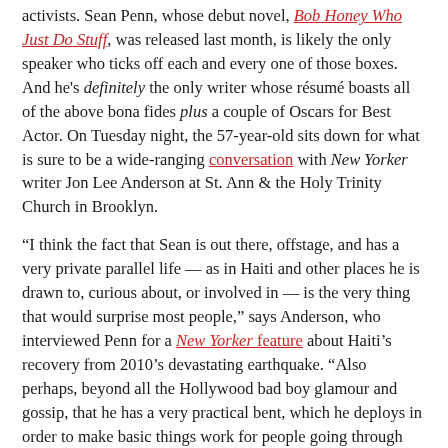activists. Sean Penn, whose debut novel, Bob Honey Who Just Do Stuff, was released last month, is likely the only speaker who ticks off each and every one of those boxes. And he's definitely the only writer whose résumé boasts all of the above bona fides plus a couple of Oscars for Best Actor. On Tuesday night, the 57-year-old sits down for what is sure to be a wide-ranging conversation with New Yorker writer Jon Lee Anderson at St. Ann & the Holy Trinity Church in Brooklyn.
“I think the fact that Sean is out there, offstage, and has a very private parallel life — as in Haiti and other places he is drawn to, curious about, or involved in — is the very thing that would surprise most people,” says Anderson, who interviewed Penn for a New Yorker feature about Haiti’s recovery from 2010’s devastating earthquake. “Also perhaps, beyond all the Hollywood bad boy glamour and gossip, that he has a very practical bent, which he deploys in order to make basic things work for people going through hard times. As in Haiti.”
[related_posts post_id_1="576212" /]
For anyone who’s been paying attention, the fact that Penn should turn to writing isn’t especially surprising. Since 1991, when he turned his own screenplay into his feature directorial debut, The Indian Runner, Penn has shown an affinity for letters, and an eye